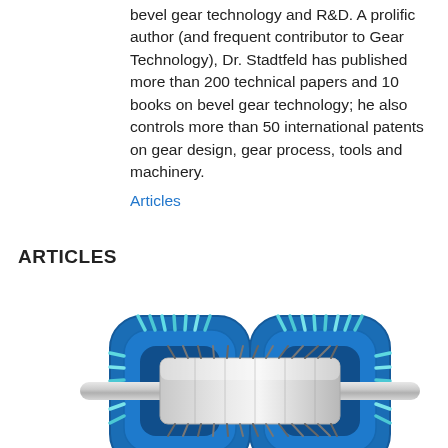bevel gear technology and R&D. A prolific author (and frequent contributor to Gear Technology), Dr. Stadtfeld has published more than 200 technical papers and 10 books on bevel gear technology; he also controls more than 50 international patents on gear design, gear process, tools and machinery. Articles
ARTICLES
[Figure (illustration): 3D rendering of a blue bevel gear assembly showing interlocking helical bevel gears with cyan/teal tooth contact patterns, mounted on a silver shaft, viewed from an isometric perspective.]